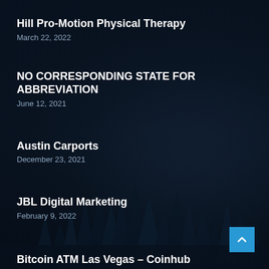Hill Pro-Motion Physical Therapy
March 22, 2022
NO CORRESPONDING STATE FOR ABBREVIATION
June 12, 2021
Austin Carports
December 23, 2021
JBL Digital Marketing
February 9, 2022
Bitcoin ATM Las Vegas – Coinhub
July 5, 2022